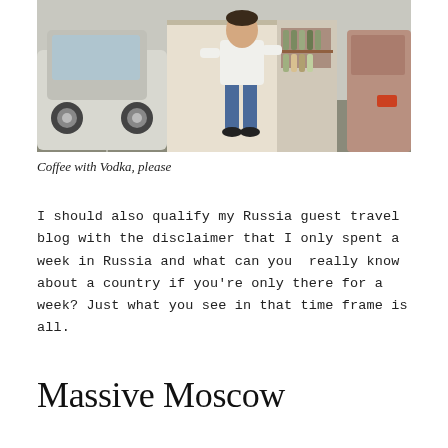[Figure (photo): A person in jeans and white top standing in a parking lot next to an open van/truck with bottles and goods, flanked by a white car on the left and a van on the right.]
Coffee with Vodka, please
I should also qualify my Russia guest travel blog with the disclaimer that I only spent a week in Russia and what can you really know about a country if you’re only there for a week? Just what you see in that time frame is all.
Massive Moscow